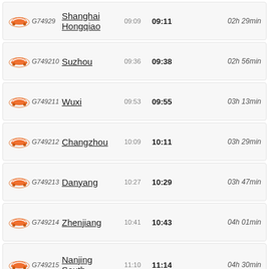G7492 9 Shanghai Hongqiao 09:09 09:11 02h 29min
G7492 10 Suzhou 09:36 09:38 02h 56min
G7492 11 Wuxi 09:53 09:55 03h 13min
G7492 12 Changzhou 10:09 10:11 03h 29min
G7492 13 Danyang 10:27 10:29 03h 47min
G7492 14 Zhenjiang 10:41 10:43 04h 01min
G7492 15 Nanjing South 11:10 11:14 04h 30min